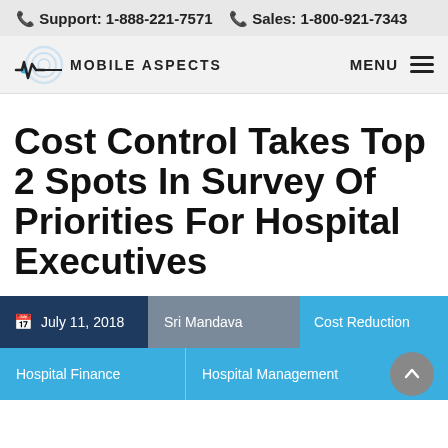Support: 1-888-221-7571   Sales: 1-800-921-7343
[Figure (logo): Mobile Aspects logo with waveform graphic and circular signal icon, text reads MOBILE ASPECTS]
Cost Control Takes Top 2 Spots In Survey Of Priorities For Hospital Executives
July 11, 2018  Sri Mandava  Cost Reduction  Hospital Finance  Hospital Management